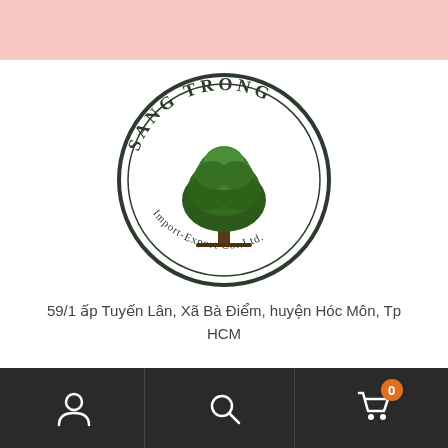[Figure (logo): Sang Trong Import-Export Co.,Ltd. circular logo with a tree in the center]
59/1 ấp Tuyến Lân, Xã Bà Điểm, huyện Hóc Môn, Tp HCM
Số Hotline Sang Trong:
Bottom navigation bar with user, search, and cart (0) icons